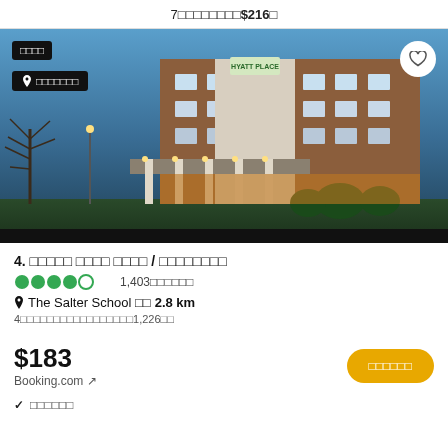7□□□□□□□□$216□
[Figure (photo): Hotel building exterior at dusk/night, brick facade with illuminated entrance columns and green logo sign]
4. □□□□□ □□□□ □□□□ / □□□□□□□□
●●●●○ 1,403□□□□□□
The Salter School □□ 2.8 km
4□□□□□□□□□□□□□□□□□1,226□□
$183
Booking.com ↗
□□□□□□
✓ □□□□□□